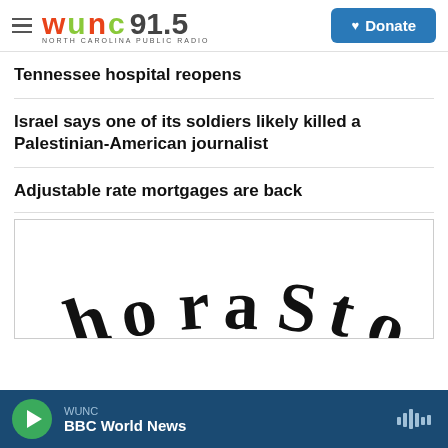WUNC 91.5 NORTH CAROLINA PUBLIC RADIO — Donate
Tennessee hospital reopens
Israel says one of its soldiers likely killed a Palestinian-American journalist
Adjustable rate mortgages are back
[Figure (photo): Partial image showing curved handwritten-style text reading 'horasty' or similar, cropped at the bottom of the visible area]
WUNC — BBC World News (audio player bar)